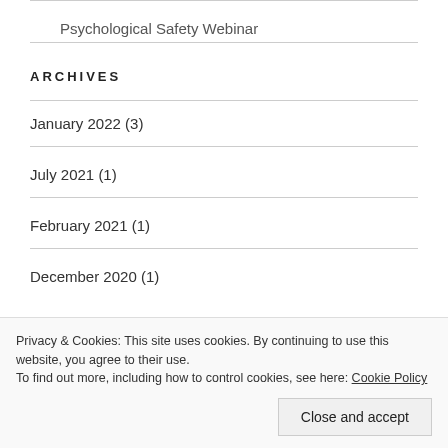Psychological Safety Webinar
ARCHIVES
January 2022 (3)
July 2021 (1)
February 2021 (1)
December 2020 (1)
Privacy & Cookies: This site uses cookies. By continuing to use this website, you agree to their use.
To find out more, including how to control cookies, see here: Cookie Policy